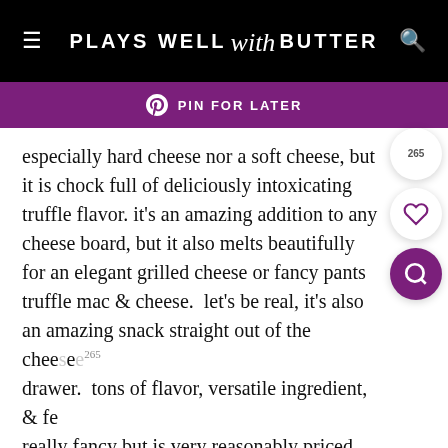PLAYS WELL with BUTTER
PIN FOR LATER
especially hard cheese nor a soft cheese, but it is chock full of deliciously intoxicating truffle flavor.  it's an amazing addition to any cheese board, but it also melts beautifully for an elegant grilled cheese or fancy pants truffle mac & cheese.  let's be real, it's also an amazing snack straight out of the cheese drawer.  tons of flavor, versatile ingredient, & fe really fancy but is very reasonably priced.
next stop was some celebratory wine – a nice
argentinian red & bubbly-crisp italian prosecco always fits the bill.